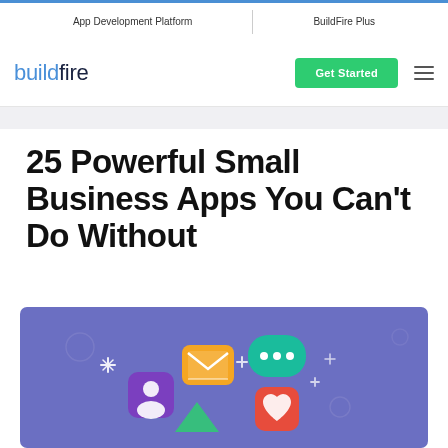App Development Platform | BuildFire Plus
[Figure (logo): buildfire logo with blue 'build' and dark 'fire' text]
Get Started
25 Powerful Small Business Apps You Can't Do Without
[Figure (illustration): Purple/blue background illustration with colorful app icons including email, chat bubble, social media, and heart icons floating upward]